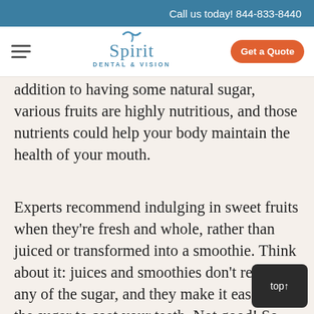Call us today! 844-833-8440
[Figure (logo): Spirit Dental & Vision logo with navigation bar and Get a Quote button]
addition to having some natural sugar, various fruits are highly nutritious, and those nutrients could help your body maintain the health of your mouth.
Experts recommend indulging in sweet fruits when they're fresh and whole, rather than juiced or transformed into a smoothie. Think about it: juices and smoothies don't remove any of the sugar, and they make it easier for the sugar to coat your teeth. Not good! So, rather than pretty much giving your teeth a